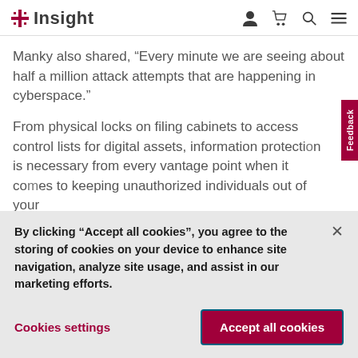Insight
Manky also shared, “Every minute we are seeing about half a million attack attempts that are happening in cyberspace.”
From physical locks on filing cabinets to access control lists for digital assets, information protection is necessary from every vantage point when it comes to keeping unauthorized individuals out of your
By clicking “Accept all cookies”, you agree to the storing of cookies on your device to enhance site navigation, analyze site usage, and assist in our marketing efforts.
Cookies settings
Accept all cookies